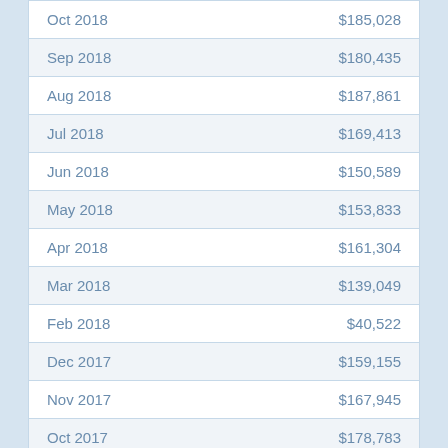| Month | Amount |
| --- | --- |
| Oct 2018 | $185,028 |
| Sep 2018 | $180,435 |
| Aug 2018 | $187,861 |
| Jul 2018 | $169,413 |
| Jun 2018 | $150,589 |
| May 2018 | $153,833 |
| Apr 2018 | $161,304 |
| Mar 2018 | $139,049 |
| Feb 2018 | $40,522 |
| Dec 2017 | $159,155 |
| Nov 2017 | $167,945 |
| Oct 2017 | $178,783 |